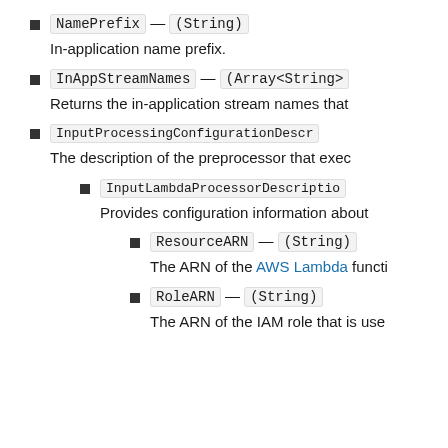NamePrefix — (String)
In-application name prefix.
InAppStreamNames — (Array<String>
Returns the in-application stream names that
InputProcessingConfigurationDescr
The description of the preprocessor that exec
InputLambdaProcessorDescriptio
Provides configuration information about
ResourceARN — (String)
The ARN of the AWS Lambda functi
RoleARN — (String)
The ARN of the IAM role that is use